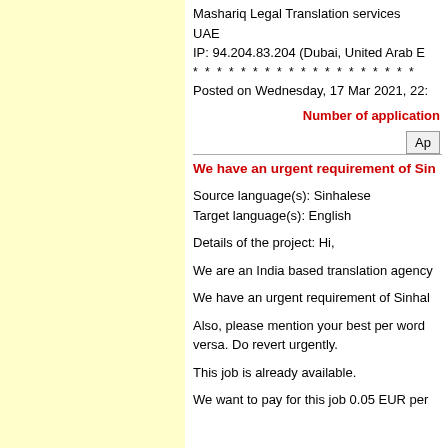Mashariq Legal Translation services
UAE
IP: 94.204.83.204 (Dubai, United Arab E...
* * * * * * * * * * * * * * * * * * *
Posted on Wednesday, 17 Mar 2021, 22:...
Number of application...
Ap...
We have an urgent requirement of Sin...
Source language(s): Sinhalese
Target language(s): English
Details of the project: Hi,
We are an India based translation agency...
We have an urgent requirement of Sinhal...
Also, please mention your best per word... versa. Do revert urgently.
This job is already available.
We want to pay for this job 0.05 EUR per...